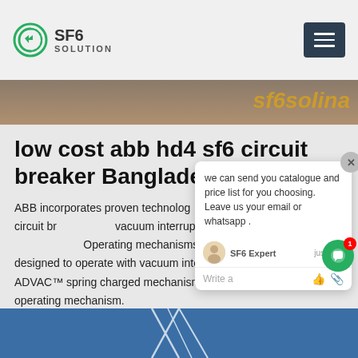SF6 SOLUTION
[Figure (screenshot): Hero banner image strip with illustrated background and orange italic text 'sf6solina']
low cost abb hd4 sf6 circuit breaker Bangladesh
ABB incorporates proven technology medium voltage roll-in replacement circuit breakers and vacuum interrupters and operating mechanisms. Operating mechanisms that are specifically designed to operate with vacuum interrupters include the ADVAC™ spring charged mechanism and the AMVAC™ magnetic operating mechanism.
Get Price
[Figure (screenshot): Chat popup overlay with message: 'we can send you catalogue and price list for you choosing. Leave us your email or whatsapp .' with SF6 Expert agent and write area with like and attachment icons. Green chat bubble button with red badge showing '1'.]
[Figure (photo): Bottom portion of page showing blue sky background with structural elements visible at top]